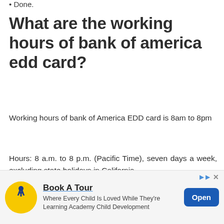Done.
What are the working hours of bank of america edd card?
Working hours of bank of America EDD card is 8am to 8pm
Hours: 8 a.m. to 8 p.m. (Pacific Time), seven days a week, excluding state holidays in California.
How do I send my documents to bank of
[Figure (other): Advertisement banner: Book A Tour - Where Every Child Is Loved While They're Learning Academy Child Development, with Open button]